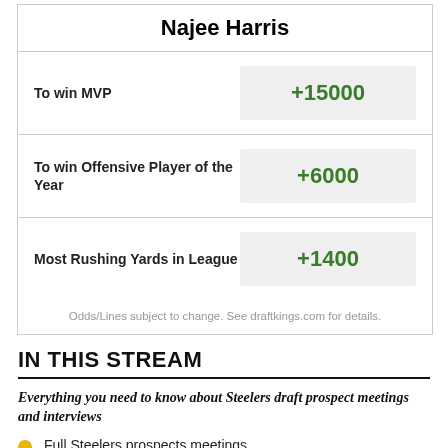Najee Harris
| Bet | Odds |
| --- | --- |
| To win MVP | +15000 |
| To win Offensive Player of the Year | +6000 |
| Most Rushing Yards in League | +1400 |
Odds/Lines subject to change. See draftkings.com for details.
IN THIS STREAM
Everything you need to know about Steelers draft prospect meetings and interviews
Full Steelers prospects meetings
Glen Stanley set to workout for Steelers